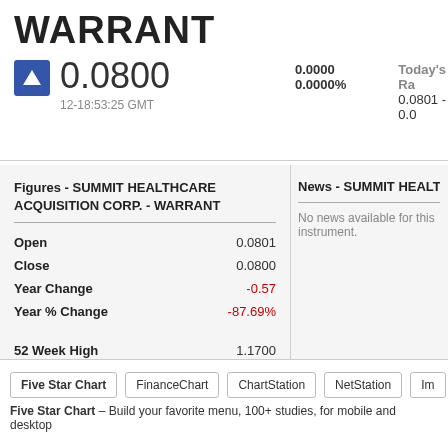WARRANT
0.0800  12-18:53:25 GMT  0.0000  0.0000%  Today's Ra  0.0801 - 0.0...
Figures - SUMMIT HEALTHCARE ACQUISITION CORP. - WARRANT
|  |  |
| --- | --- |
| Open | 0.0801 |
| Close | 0.0800 |
| Year Change | -0.57 |
| Year % Change | -87.69% |
| 52 Week High | 1.1700 |
| 52 Week Low | 0.0300 |
| Volume | 3363 |
| Inc. Vol | 100 |
News - SUMMIT HEALTHCARE A...
No news available for this instrument.
Five Star Chart  FinanceChart  ChartStation  NetStation  Im...
Five Star Chart – Build your favorite menu, 100+ studies, for mobile and desktop